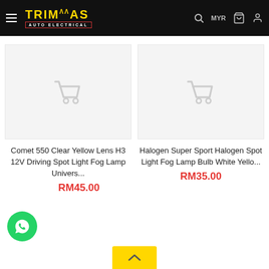TRIMAS AUTO ELECTRICAL — MYR
[Figure (screenshot): Product image placeholder with shopping cart icon for Comet 550 Clear Yellow Lens H3 12V Driving Spot Light Fog Lamp]
Comet 550 Clear Yellow Lens H3 12V Driving Spot Light Fog Lamp Univers...
RM45.00
[Figure (screenshot): Product image placeholder with shopping cart icon for Halogen Super Sport Halogen Spot Light Fog Lamp Bulb White Yello...]
Halogen Super Sport Halogen Spot Light Fog Lamp Bulb White Yello...
RM35.00